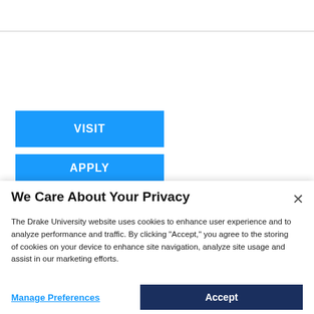[Figure (screenshot): Blue VISIT button on white background]
[Figure (screenshot): Blue APPLY button partially visible]
We Care About Your Privacy
The Drake University website uses cookies to enhance user experience and to analyze performance and traffic. By clicking "Accept," you agree to the storing of cookies on your device to enhance site navigation, analyze site usage and assist in our marketing efforts.
Manage Preferences
Accept